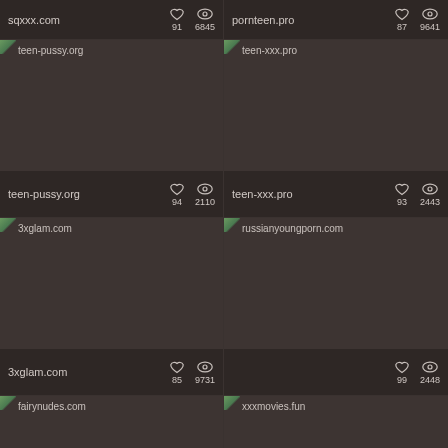[Figure (screenshot): Website listing grid with thumbnails, site names, heart/eye icons and counts. Top partial info bars for sqxxx.com (91 likes, 6845 views) and pornteen.pro (87 likes, 9641 views). Then thumbnail cards for teen-pussy.org (94 likes, 2110 views), teen-xxx.pro (93 likes, 2443 views), 3xglam.com (85 likes, 9731 views), and a fourth card with 99 likes 2448 views. Bottom partial thumbnails for fairynudes.com and xxxmovies.fun.]